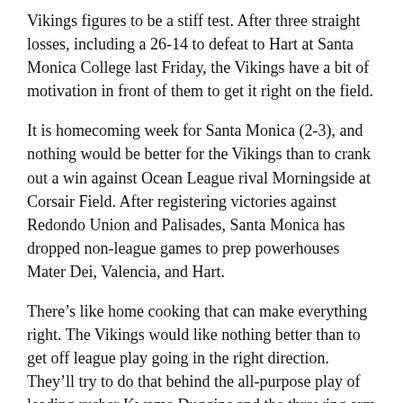Vikings figures to be a stiff test. After three straight losses, including a 26-14 to defeat to Hart at Santa Monica College last Friday, the Vikings have a bit of motivation in front of them to get it right on the field.
It is homecoming week for Santa Monica (2-3), and nothing would be better for the Vikings than to crank out a win against Ocean League rival Morningside at Corsair Field. After registering victories against Redondo Union and Palisades, Santa Monica has dropped non-league games to prep powerhouses Mater Dei, Valencia, and Hart.
There’s like home cooking that can make everything right. The Vikings would like nothing better than to get off league play going in the right direction. They’ll try to do that behind the all-purpose play of leading rusher Kwame Duggins and the throwing arm of quarterback Nico Basile.
Wide receiver De’Jai Whitaker, who leads the team in